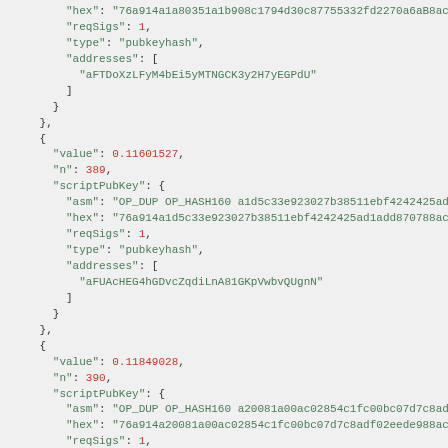JSON code block showing blockchain transaction output data with scriptPubKey fields for multiple outputs (n: 389, 390, 391)